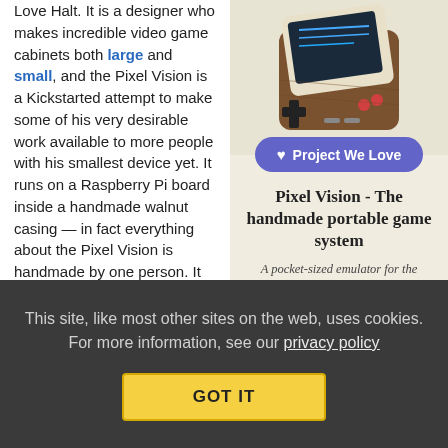Love Halt. It is a designer who makes incredible video game cabinets both large and small, and the Pixel Vision is a Kickstarted attempt to make some of his very desirable work available to more people with his smallest device yet. It runs on a Raspberry Pi board inside a handmade walnut casing — in fact everything about the Pixel Vision is handmade by one person. It has controls much like a classic Nintendo, runs emulators for a bunch of classic game systems, all
[Figure (photo): Photo of Pixel Vision handheld game console with walnut casing, showing screen and buttons]
Project We Love
Pixel Vision - The handmade portable game system
A pocket-sized emulator for the dedicated gamer, handmade from solid walnut. A true gaming jewel!
This site, like most other sites on the web, uses cookies. For more information, see our privacy policy
GOT IT